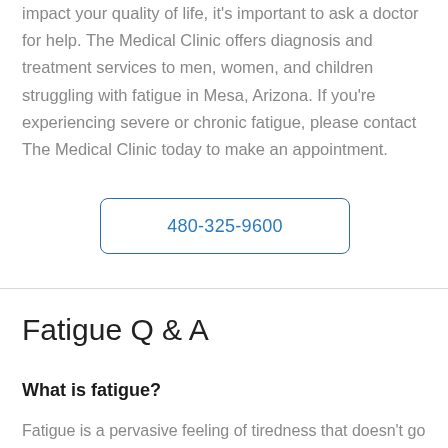impact your quality of life, it's important to ask a doctor for help. The Medical Clinic offers diagnosis and treatment services to men, women, and children struggling with fatigue in Mesa, Arizona. If you're experiencing severe or chronic fatigue, please contact The Medical Clinic today to make an appointment.
480-325-9600
Fatigue Q & A
What is fatigue?
Fatigue is a pervasive feeling of tiredness that doesn't go